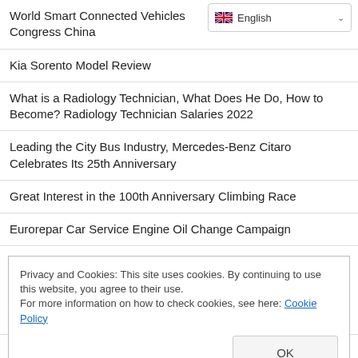World Smart Connected Vehicles Congress China
Kia Sorento Model Review
What is a Radiology Technician, What Does He Do, How to Become? Radiology Technician Salaries 2022
Leading the City Bus Industry, Mercedes-Benz Citaro Celebrates Its 25th Anniversary
Great Interest in the 100th Anniversary Climbing Race
Eurorepar Car Service Engine Oil Change Campaign
Tesla's Shanghai Factory Produced 1 Million Vehicles in Three Y...
Privacy and Cookies: This site uses cookies. By continuing to use this website, you agree to their use.
For more information on how to check cookies, see here: Cookie Policy
[OK button]
Hair Transplantation Specialist Serkan Yavuz Explains What...